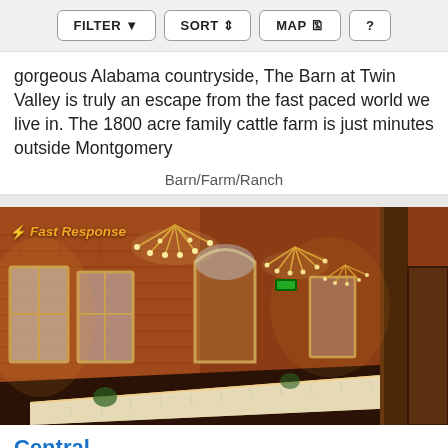FILTER | SORT | MAP | ?
gorgeous Alabama countryside, The Barn at Twin Valley is truly an escape from the fast paced world we live in. The 1800 acre family cattle farm is just minutes outside Montgomery
Barn/Farm/Ranch
[Figure (photo): Interior of Central venue — a long dining room with exposed red brick walls, tall arched windows, Edison bulb chandeliers, and a long banquet table set for dinner. Fast Response badge in top-left corner.]
Central
Serving the Elmore, AL Area